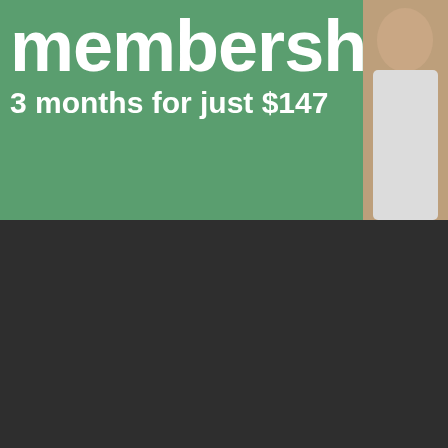membership!
3 months for just $147
[Figure (photo): Partial view of a person on the right side of the green banner]